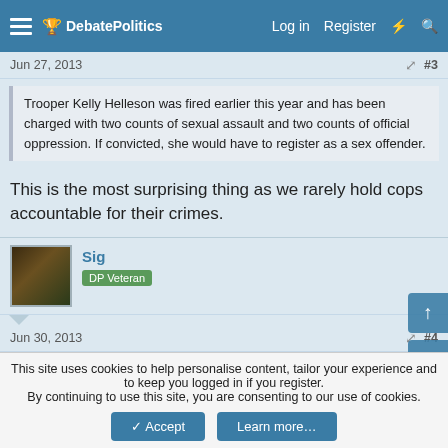DebatePolitics — Log in  Register
Jun 27, 2013  #3
Trooper Kelly Helleson was fired earlier this year and has been charged with two counts of sexual assault and two counts of official oppression. If convicted, she would have to register as a sex offender.
This is the most surprising thing as we rarely hold cops accountable for their crimes.
Sig
DP Veteran
Jun 30, 2013  #4
Ford289HiPo said:
This site uses cookies to help personalise content, tailor your experience and to keep you logged in if you register.
By continuing to use this site, you are consenting to our use of cookies.